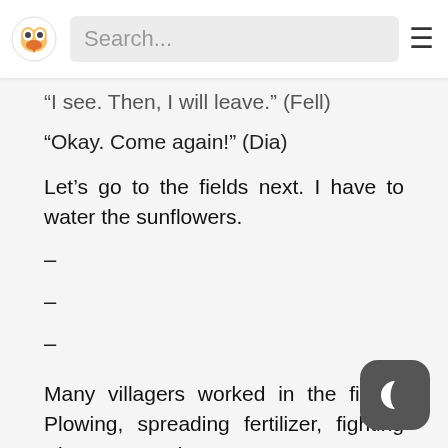Search...
“I see. Then, I will leave.” (Fell)
“Okay. Come again!” (Dia)
Let’s go to the fields next. I have to water the sunflowers.
–
–
–
Many villagers worked in the fields. Plowing, spreading fertilizer, fighting Big Worm, and so on. It